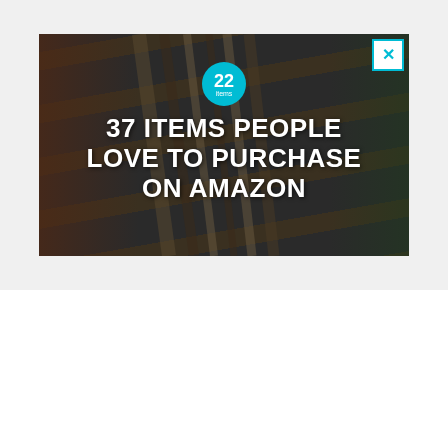[Figure (photo): Advertisement banner for Amazon products. Dark background with kitchen knives and food items (garlic, lime, mushroom, herbs). Teal circular badge with '22' and text '37 ITEMS PEOPLE LOVE TO PURCHASE ON AMAZON' in white bold text. Blue X close button in top-right corner.]
[Figure (photo): Aerial/drone photograph of what appears to be an outdoor cremation ground or similar site, viewed from above. Shows a rectangular walled area with multiple fire sites/ash circles arranged in rows on sandy ground. Trees visible on the left edge. A bright flame visible on the right side. 'CLOSE' button overlay in lower right.]